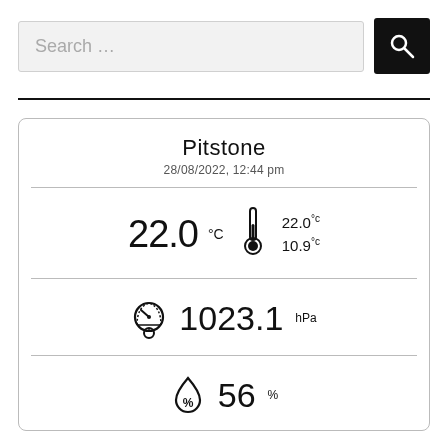Search ...
Pitstone
28/08/2022, 12:44 pm
22.0 °C  22.0 °C / 10.9 °C
1023.1 hPa
56%